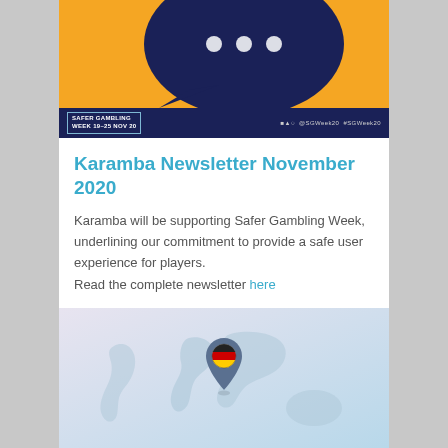[Figure (illustration): Safer Gambling Week banner. Orange background with a dark navy speech bubble illustration. Navy bar at the bottom with 'SAFER GAMBLING WEEK 19-25 NOV 20' badge on the left and social media handles '@SGWeek20 #SGWeek20' on the right.]
Karamba Newsletter November 2020
Karamba will be supporting Safer Gambling Week, underlining our commitment to provide a safe user experience for players.
Read the complete newsletter here
[Figure (map): World map illustration with a German flag location pin marker centered over Europe/Germany region. Soft lavender to light blue gradient background.]